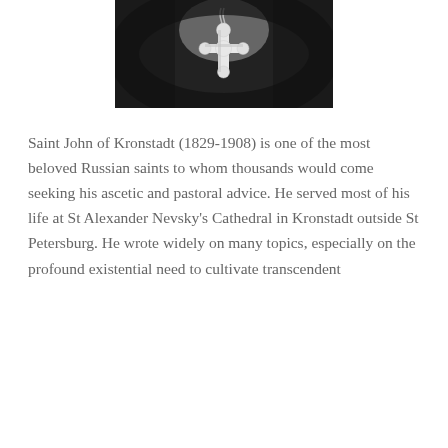[Figure (photo): Black and white photograph showing a pectoral cross on a chain worn around someone's neck, with dark background suggesting clerical robes.]
Saint John of Kronstadt (1829-1908) is one of the most beloved Russian saints to whom thousands would come seeking his ascetic and pastoral advice. He served most of his life at St Alexander Nevsky's Cathedral in Kronstadt outside St Petersburg. He wrote widely on many topics, especially on the profound existential need to cultivate transcendent